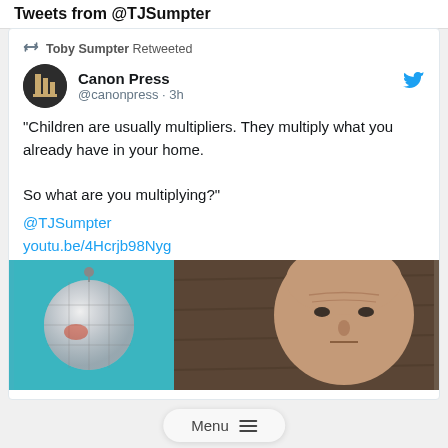Tweets from @TJSumpter
Toby Sumpter Retweeted
Canon Press @canonpress · 3h
"Children are usually multipliers. They multiply what you already have in your home.

So what are you multiplying?"
@TJSumpter
youtu.be/4Hcrjb98Nyg
[Figure (photo): Split image: left side shows a disco/mirror ball against a teal background; right side shows a bald man's face looking forward against a wooden/dark background.]
Menu ≡